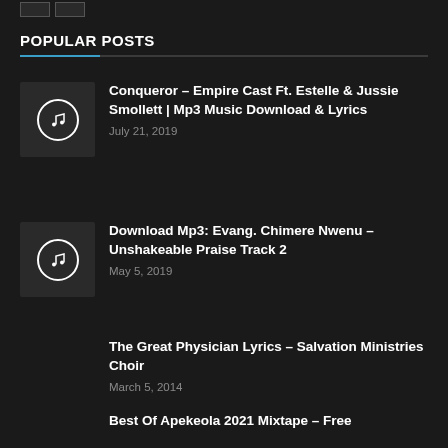POPULAR POSTS
Conqueror – Empire Cast Ft. Estelle & Jussie Smollett | Mp3 Music Download & Lyrics
July 21, 2019
Download Mp3: Evang. Chimere Nwenu – Unshakeable Praise Track 2
May 5, 2019
The Great Physician Lyrics – Salvation Ministries Choir
March 5, 2014
Best Of Apekeola 2021 Mixtape – Free